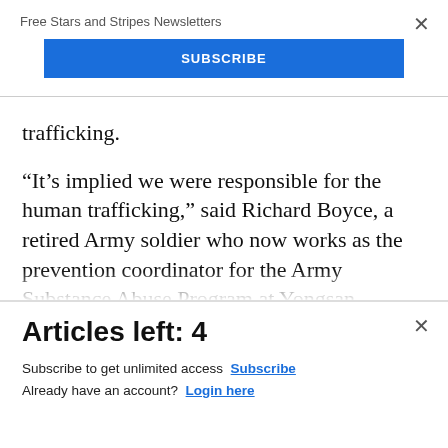Free Stars and Stripes Newsletters
[Figure (other): Blue SUBSCRIBE button for newsletter sign-up]
trafficking.
“It’s implied we were responsible for the human trafficking,” said Richard Boyce, a retired Army soldier who now works as the prevention coordinator for the Army Substance Abuse Program at Yongsan Garrison. “That’s what I think
Articles left: 4
Subscribe to get unlimited access  Subscribe
Already have an account?  Login here